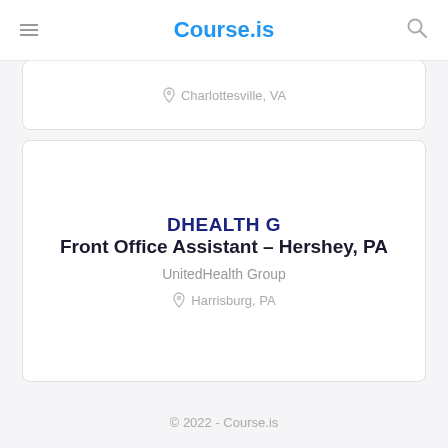Course.is
Charlottesville, VA
[Figure (logo): UnitedHealth Group logo text showing 'DHEALTH C' (partial logo visible)]
Front Office Assistant – Hershey, PA
UnitedHealth Group
Harrisburg, PA
© 2022 - Course.is